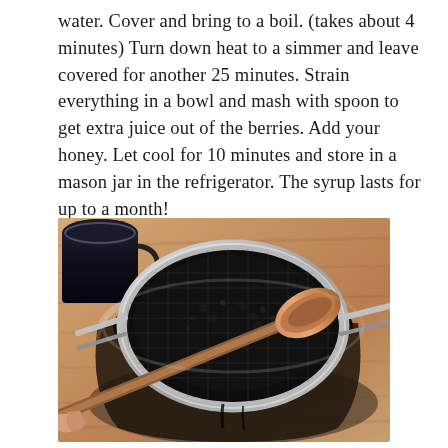water. Cover and bring to a boil. (takes about 4 minutes) Turn down heat to a simmer and leave covered for another 25 minutes. Strain everything in a bowl and mash with spoon to get extra juice out of the berries. Add your honey. Let cool for 10 minutes and store in a mason jar in the refrigerator. The syrup lasts for up to a month!
[Figure (photo): Top-down photo of a fine mesh strainer/sieve sitting over a glass bowl filled with dark elderberry juice, with a wooden spoon pressing the berries. A dark mug is visible in the top left corner. The scene is on a wooden cutting board.]